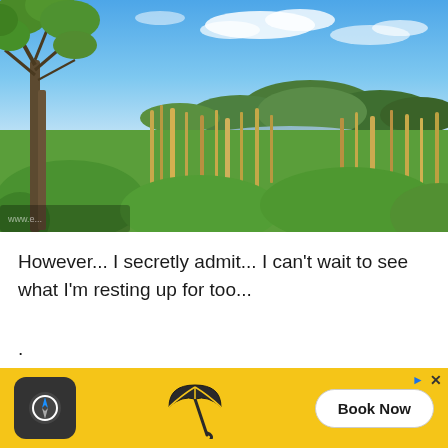[Figure (photo): Outdoor nature landscape photo showing a wetland or marshy area with tall grasses and reeds in the foreground, a small pond or water body in the middle ground, deciduous trees on the left side including a birch tree with green foliage, and a gentle forested hill in the background under a partly cloudy blue sky. Sunny summer day.]
However... I secretly admit... I can't wait to see what I'm resting up for too...
.
Are you a walker or a biker?
And w[...] lding
[Figure (infographic): Advertisement banner with yellow background featuring a circular dark icon on left, a beach umbrella icon in center, a 'Book Now' button on right, and close controls (arrow and X) in upper right corner.]